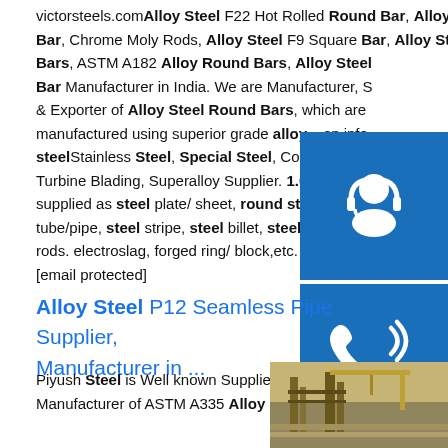victorsteels.com Alloy Steel F22 Hot Rolled Round Bar, Alloy Steel F91 Cold Drawn Round Bar, Chrome Moly Rods, Alloy Steel F9 Square Bar, Alloy Steel F11 Bars, ASTM A182 Alloy Round Bars, Alloy Steel Bar Manufacturer in India. We are Manufacturer, S & Exporter of Alloy Steel Round Bars, which are manufactured using superior grade alloy ...sp.info steelStainless Steel, Special Steel, Compressor B Turbine Blading, Superalloy Supplier. 1.0345 can be supplied as steel plate/ sheet, round steel bar, st tube/pipe, steel stripe, steel billet, steel ingot, stee rods. electroslag, forged ring/ block,etc. Join Supplier: [email protected]
[Figure (infographic): Three blue square buttons: customer support headset icon, phone/call icon, Skype icon]
Alloy Steel P12 Seamless Pipe Supplier, Manufacturer in ...
Piyush Steel is Well known Supplier and Manufacturer of ASTM A335 Alloy Steel...
[Figure (photo): Industrial steel pipes/warehouse thumbnail image]